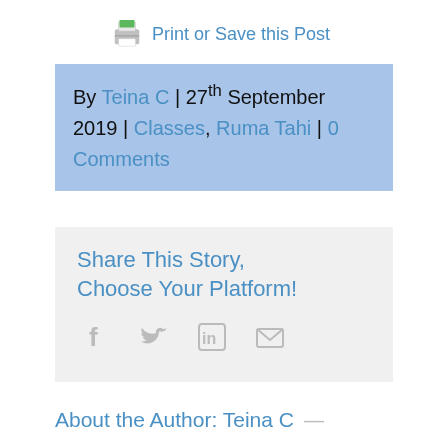Print or Save this Post
By Teina C | 27th September 2019 | Classes, Ruma Tahi | 0 Comments
Share This Story, Choose Your Platform!
[Figure (infographic): Social sharing icons: Facebook, Twitter, LinkedIn, Email]
About the Author: Teina C